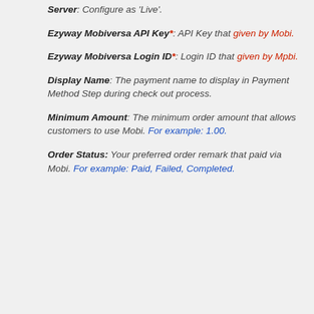Server: Configure as 'Live'.
Ezyway Mobiversa API Key*: API Key that given by Mobi.
Ezyway Mobiversa Login ID*: Login ID that given by Mpbi.
Display Name: The payment name to display in Payment Method Step during check out process.
Minimum Amount: The minimum order amount that allows customers to use Mobi. For example: 1.00.
Order Status: Your preferred order remark that paid via Mobi. For example: Paid, Failed, Completed.